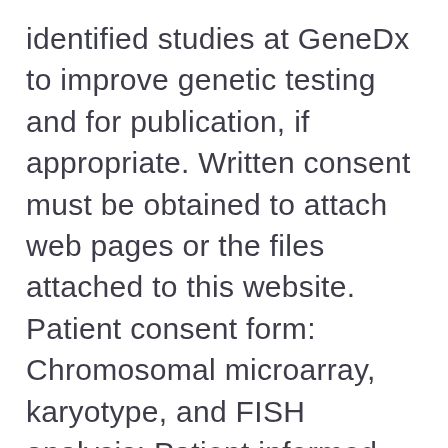identified studies at GeneDx to improve genetic testing and for publication, if appropriate. Written consent must be obtained to attach web pages or the files attached to this website. Patient consent form: Chromosomal microarray, karyotype, and FISH analysis: Patient informed consent. before shipping the specimen to GeneDx. MD State License 953 NY State License PFI# 8374Â Â» Â NY Test List GeneDx 207 Perry Parkway Gaithersburg, MD 20877 Phone: 301-519-2100 Fax: 301-519-2892 E-mail: genedx@genedx.com www.genedx.com Whole Exome Sequencing Page 1 of 3 GeneDx 1/2014 Test Information Sheet XomeDx: Whole Exome Sequencing The following documents